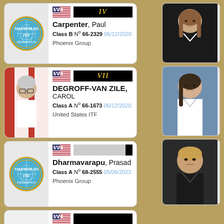[Figure (infographic): Taekwondo ID card for Carpenter, Paul. Class B, No 66-2329, 06/12/2020. Phoenix Group. Rank IV. USA flag. ITF logo photo.]
[Figure (photo): Photo of young woman in taekwondo uniform, dark background]
[Figure (infographic): Taekwondo ID card for DEGROFF-VAN ZILE, CAROL. Class A, No 66-1673, 06/12/2020. United States ITF. Rank VII. USA flag. Photo of older woman.]
[Figure (photo): Photo of young woman in white uniform, blue background]
[Figure (infographic): Taekwondo ID card for Dharmavarapu, Prasad. Class A, No 68-2555, 05/06/2022. Phoenix Group. Rank unknown (blank). USA flag. ITF logo.]
[Figure (photo): Photo of young man in dark uniform]
[Figure (infographic): Partial fourth card at bottom, partially visible]